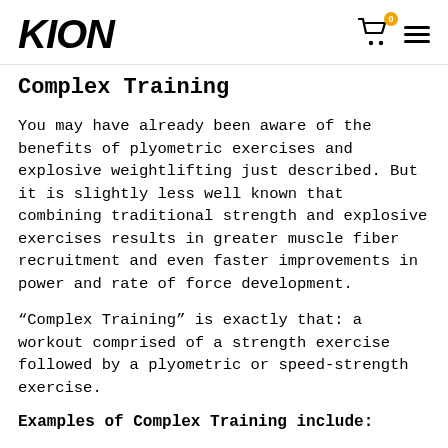KION
Complex Training
You may have already been aware of the benefits of plyometric exercises and explosive weightlifting just described. But it is slightly less well known that combining traditional strength and explosive exercises results in greater muscle fiber recruitment and even faster improvements in power and rate of force development.
“Complex Training” is exactly that: a workout comprised of a strength exercise followed by a plyometric or speed-strength exercise.
Examples of Complex Training include: